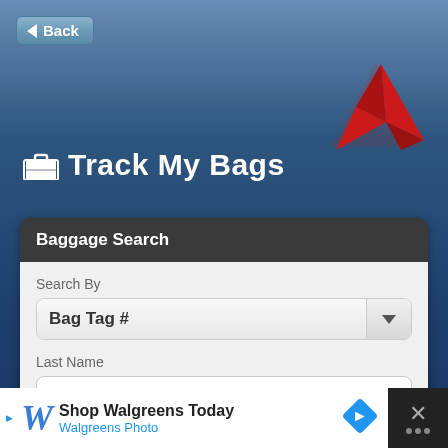[Figure (screenshot): Delta Air Lines mobile app screenshot showing Track My Bags screen with Baggage Search form. Back button in top left, Delta logo (red triangular logo) in top right. Form has Search By dropdown set to Bag Tag # and Last Name field filled with Long. Walgreens advertisement at bottom.]
Back
Track My Bags
Baggage Search
Search By
Bag Tag #
Last Name
Long
Bag Tag #
Shop Walgreens Today
Walgreens Photo